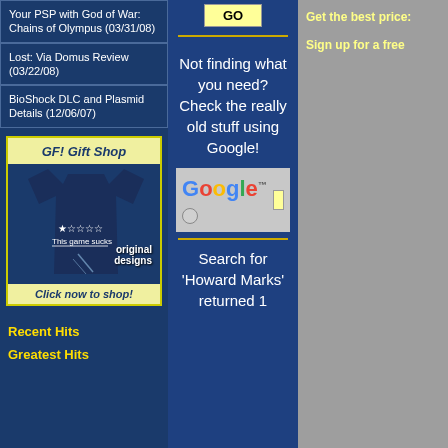Your PSP with God of War: Chains of Olympus (03/31/08)
Lost: Via Domus Review (03/22/08)
BioShock DLC and Plasmid Details (12/06/07)
[Figure (illustration): GF! Gift Shop banner with a dark navy t-shirt showing star rating and 'This game sucks' text, with 'original designs' overlay]
Click now to shop!
Recent Hits
Greatest Hits
GO
Not finding what you need? Check the really old stuff using Google!
[Figure (screenshot): Google search logo with yellow search box and radio button]
Search for 'Howard Marks' returned 1
Get the best price:
Sign up for a free